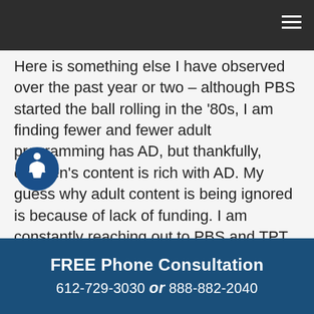Here is something else I have observed over the past year or two – although PBS started the ball rolling in the '80s, I am finding fewer and fewer adult programming has AD, but thankfully, children's content is rich with AD. My guess why adult content is being ignored is because of lack of funding. I am constantly reaching out to PBS and TPT asking why the lack of content these days and have not received a definitive answer. I believe if more people put pressure on PBS and TPT to increase the amount of programming with AD, they may respond favorably. The reason I feel alone in my efforts is that a year or so ago I no... programming... week. I
FREE Phone Consultation
612-729-3030 or 888-882-2040